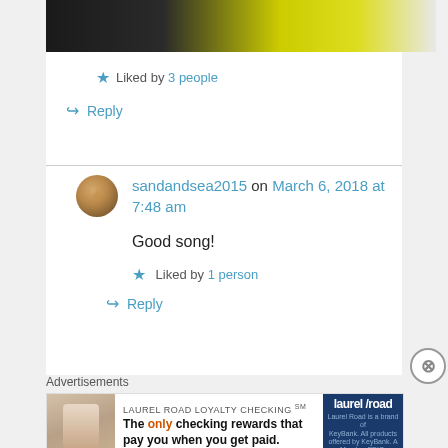[Figure (photo): Top portion of a photo showing a person in a yellow shirt, partially visible, with dark background]
★ Liked by 3 people
↪ Reply
sandandsea2015 on March 6, 2018 at 7:48 am
Good song!
★ Liked by 1 person
↪ Reply
Advertisements
[Figure (photo): Advertisement banner for Laurel Road Loyalty Checking - The only checking rewards that pay you when you get paid.]